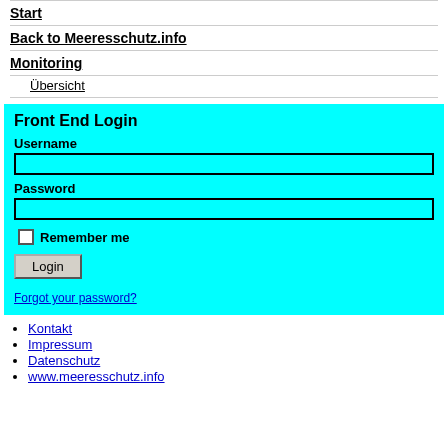Start
Back to Meeresschutz.info
Monitoring
Übersicht
[Figure (screenshot): Front End Login form with cyan background, Username field, Password field, Remember me checkbox, Login button, and Forgot your password link]
Kontakt
Impressum
Datenschutz
www.meeresschutz.info